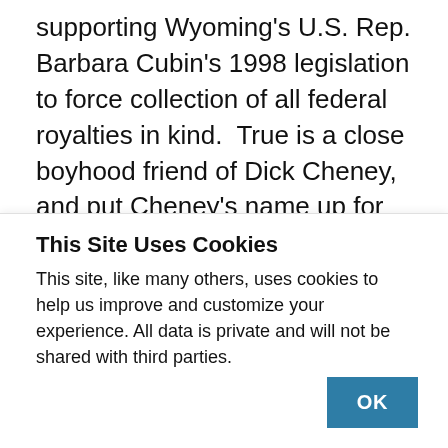supporting Wyoming's U.S. Rep. Barbara Cubin's 1998 legislation to force collection of all federal royalties in kind.  True is a close boyhood friend of Dick Cheney, and put Cheney's name up for the vice presidency in 1999. As Independent Petroleum Association chairman in 2002, True was a major supporter of the appointment of Republican politician and former oil industry spokeswoman Rejane Medinger “Johnnie” Burton of Wyoming to the $168,000-a-year job heading the federal Minerals Management Service.
This Site Uses Cookies
This site, like many others, uses cookies to help us improve and customize your experience. All data is private and will not be shared with third parties.